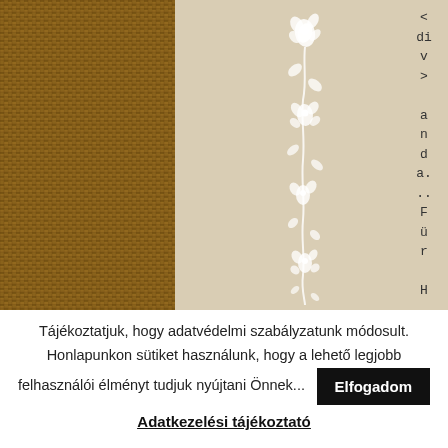[Figure (photo): Top banner composed of two parts: left half shows a close-up burlap/jute textile texture in brown/tan tones; right half shows a beige/tan background with a vertical white floral folk art decoration strip in the center, and vertical characters '< div > a n d a .. F ü r H' on the right side.]
Tájékoztatjuk, hogy adatvédelmi szabályzatunk módosult. Honlapunkon sütiket használunk, hogy a lehető legjobb felhasználói élményt tudjuk nyújtani Önnek...
Elfogadom
Adatkezelési tájékoztató